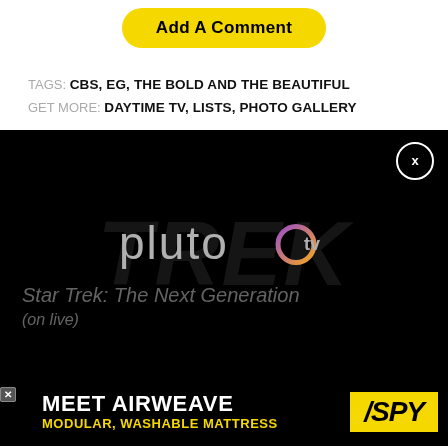Add A Comment
TAGS: CBS, EG, THE BOLD AND THE BEAUTIFUL
GET MORE: DAYTIME TV, LISTS, PHOTO GALLERY
[Figure (screenshot): Pluto TV video player with dark background showing the Pluto TV logo with Star Trek: The Next Generation text and a close button (X) in the top right corner]
[Figure (screenshot): Advertisement banner: MEET AIRWEAVE MODULAR, WASHABLE MATTRESS with SPY logo on yellow background]